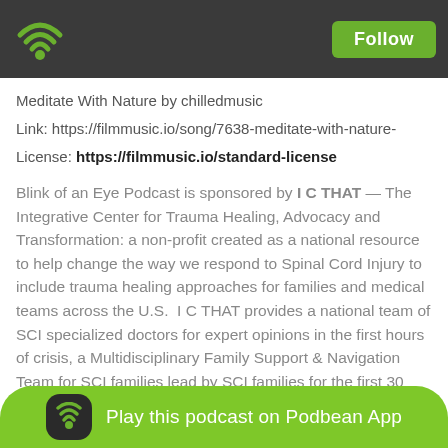Follow
Meditate With Nature by chilledmusic
Link: https://filmmusic.io/song/7638-meditate-with-nature-
License: https://filmmusic.io/standard-license
Blink of an Eye Podcast is sponsored by I C THAT — The Integrative Center for Trauma Healing, Advocacy and Transformation: a non-profit created as a national resource to help change the way we respond to Spinal Cord Injury to include trauma healing approaches for families and medical teams across the U.S.  I C THAT provides a national team of SCI specialized doctors for expert opinions in the first hours of crisis, a Multidisciplinary Family Support & Navigation Team for SCI families lead by SCI families for the first 30 days of crisis, and a National Resource Library of trauma informed responses for the fi... families, friends an... registry of
Play this podcast on Podbean App